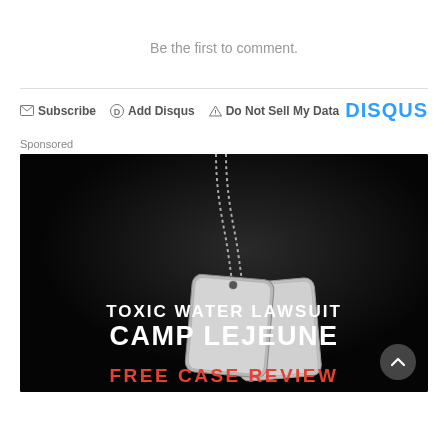Be the first to comment.
Subscribe  Add Disqus  Do Not Sell My Data   DISQUS
Sponsored
[Figure (photo): Advertisement image with military dog tags on black background. Text reads: TOXIC WATER LAWSUIT CAMP LEJEUNE FREE CASE REVIEW]